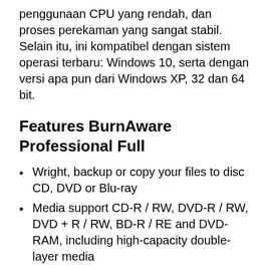penggunaan CPU yang rendah, dan proses perekaman yang sangat stabil. Selain itu, ini kompatibel dengan sistem operasi terbaru: Windows 10, serta dengan versi apa pun dari Windows XP, 32 dan 64 bit.
Features BurnAware Professional Full
Wright, backup or copy your files to disc CD, DVD or Blu-ray
Media support CD-R / RW, DVD-R / RW, DVD + R / RW, BD-R / RE and DVD-RAM, including high-capacity double-layer media
Burn audio, video and MP3
Create a bootable CD or DVD in order to use it as a large floppy boot disk for